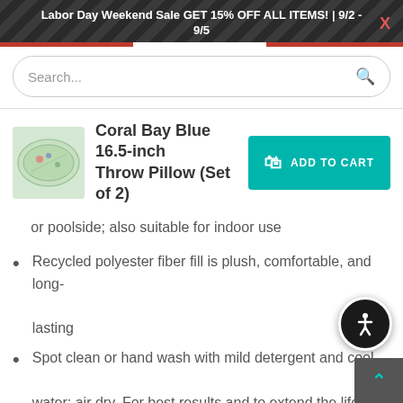Labor Day Weekend Sale GET 15% OFF ALL ITEMS! | 9/2 - 9/5
Coral Bay Blue 16.5-inch Throw Pillow (Set of 2)
or poolside; also suitable for indoor use
Recycled polyester fiber fill is plush, comfortable, and long-lasting
Spot clean or hand wash with mild detergent and cool water; air dry. For best results and to extend the life of your cushions, store covered when not in use
A USA Manufacturer